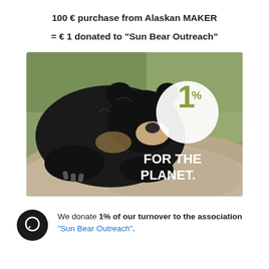100 € purchase from Alaskan MAKER
= € 1 donated to "Sun Bear Outreach"
[Figure (photo): A sun bear resting its head on a rock, with a white circle overlay showing '1%' in olive/green text and 'FOR THE PLANET.' in white bold text at bottom right of the image.]
We donate 1% of our turnover to the association "Sun Bear Outreach".